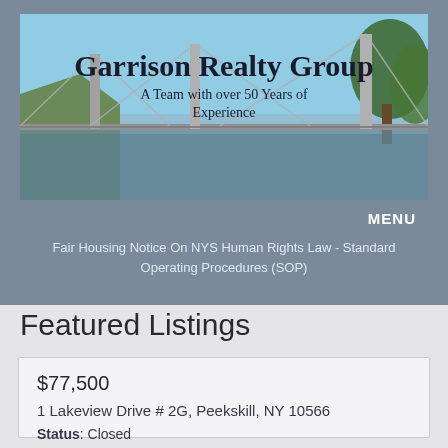[Figure (photo): Garrison Realty Group banner with bridge photo and text overlay showing company name and tagline]
Garrison Realty Group
A Team with over 50 Years of Experience
MENU
Fair Housing Notice On NYS Human Rights Law - Standard Operating Procedures (SOP)
Featured Listings
| $77,500 |
| 1 Lakeview Drive # 2G, Peekskill, NY 10566 |
| Status: Closed |